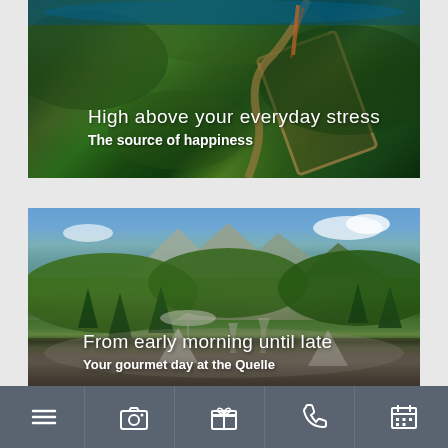[Figure (photo): Aerial view of a mountain road or path surrounded by dense green forest, viewed from above]
High above your everyday stress
The source of happiness
[Figure (photo): Outdoor dining table setting with wine glasses and white napkins, with alpine mountains and evergreen trees in the background on a sunny day]
From early morning until late
Your gourmet day at the Quelle
[Figure (other): Navigation bar with five icons: hamburger menu, camera, gift box, phone, and calendar]